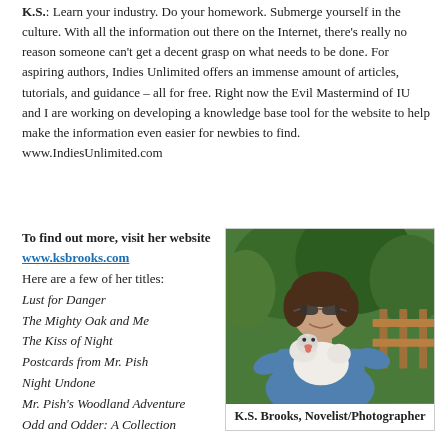K.S.: Learn your industry. Do your homework. Submerge yourself in the culture. With all the information out there on the Internet, there's really no reason someone can't get a decent grasp on what needs to be done. For aspiring authors, Indies Unlimited offers an immense amount of articles, tutorials, and guidance – all for free. Right now the Evil Mastermind of IU and I are working on developing a knowledge base tool for the website to help make the information even easier for newbies to find. www.IndiesUnlimited.com
To find out more, visit her website www.ksbrooks.com
Here are a few of her titles:
Lust for Danger
The Mighty Oak and Me
The Kiss of Night
Postcards from Mr. Pish
Night Undone
Mr. Pish's Woodland Adventure
Odd and Odder: A Collection
[Figure (photo): Photo of K.S. Brooks, a woman with short brown hair wearing sunglasses and a blue top, holding a small white fluffy dog, with trees and a wooden fence in the background]
K.S. Brooks, Novelist/Photographer